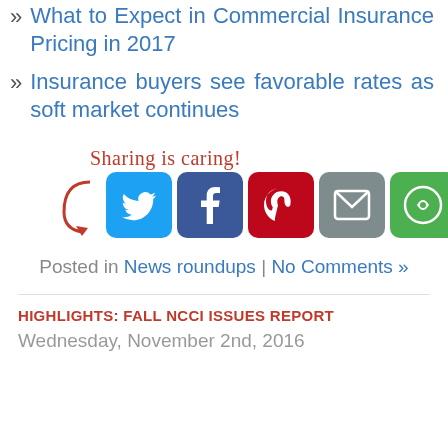» What to Expect in Commercial Insurance Pricing in 2017
» Insurance buyers see favorable rates as soft market continues
[Figure (infographic): Sharing is caring! graphic with arrow and social media icons: Twitter, Facebook, Pinterest, Email, Share]
Posted in News roundups | No Comments »
HIGHLIGHTS: FALL NCCI ISSUES REPORT
Wednesday, November 2nd, 2016